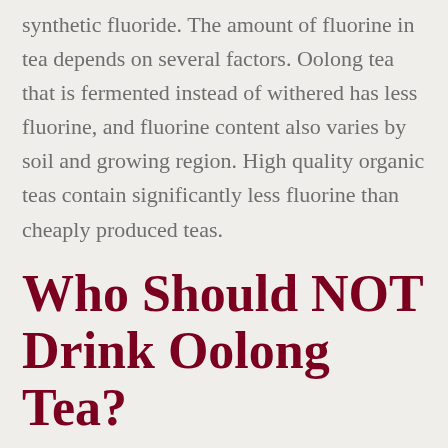synthetic fluoride. The amount of fluorine in tea depends on several factors. Oolong tea that is fermented instead of withered has less fluorine, and fluorine content also varies by soil and growing region. High quality organic teas contain significantly less fluorine than cheaply produced teas.
Who Should NOT Drink Oolong Tea?
Since oolong, like green tea, does contain some fluoride, it can be counterproductive for those with certain thyroid conditions. Oolong also contains moderate amounts of caffeine which can be harmful during pregnancy. Young